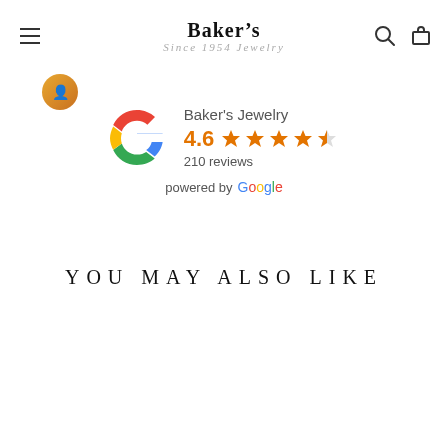Baker's Jewelry
[Figure (logo): Baker's Jewelry logo with crown graphic, serif bold text 'Baker's' and italic script 'Since 1954 Jewelry']
[Figure (infographic): Google review widget showing Baker's Jewelry with 4.6 stars and 210 reviews, powered by Google]
YOU MAY ALSO LIKE